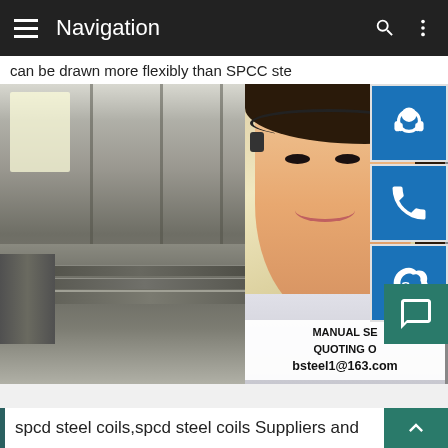Navigation
can be drawn more flexibly than SPCC ste
[Figure (photo): Steel plates stacked in a large warehouse/factory with steel structure roof, overlaid with a customer service representative (woman with headset) and three contact icons (chat, phone, Skype) on the right, and contact overlay text: MANUAL SE... / QUOTING O... / bsteel1@163.com]
spcd steel coils,spcd steel coils Suppliers and